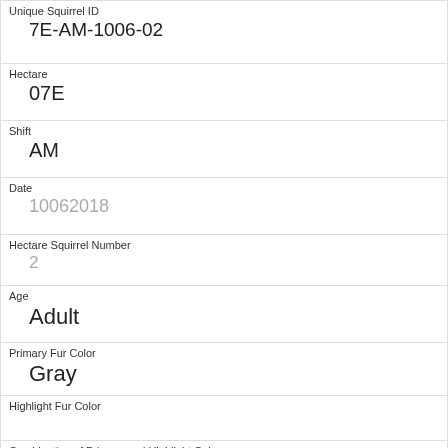| Unique Squirrel ID | 7E-AM-1006-02 |
| Hectare | 07E |
| Shift | AM |
| Date | 10062018 |
| Hectare Squirrel Number | 2 |
| Age | Adult |
| Primary Fur Color | Gray |
| Highlight Fur Color |  |
| Combination of Primary and Highlight Color | Gray+ |
| Color notes |  |
| Location |  |